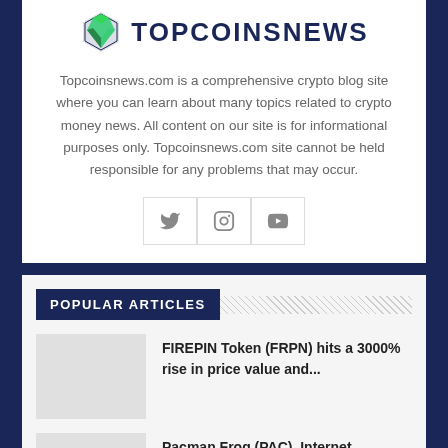[Figure (logo): TopCoinsNews logo with green/blue diamond icon and bold uppercase text TOPCOINSNEWS]
Topcoinsnews.com is a comprehensive crypto blog site where you can learn about many topics related to crypto money news. All content on our site is for informational purposes only. Topcoinsnews.com site cannot be held responsible for any problems that may occur.
[Figure (other): Social media icons: Twitter, Instagram, YouTube in bordered boxes]
POPULAR ARTICLES
FIREPIN Token (FRPN) hits a 3000% rise in price value and...
Pacman Frog (PAC), Internet Computer (ICP), and Elrond...